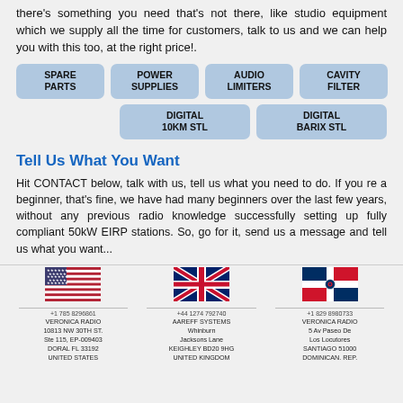there's something you need that's not there, like studio equipment which we supply all the time for customers, talk to us and we can help you with this too, at the right price!.
SPARE PARTS
POWER SUPPLIES
AUDIO LIMITERS
CAVITY FILTER
DIGITAL 10KM STL
DIGITAL BARIX STL
Tell Us What You Want
Hit CONTACT below, talk with us, tell us what you need to do. If you re a beginner, that's fine, we have had many beginners over the last few years, without any previous radio knowledge successfully setting up fully compliant 50kW EIRP stations. So, go for it, send us a message and tell us what you want...
[Figure (illustration): US flag]
+1 785 8296861
VERONICA RADIO
10813 NW 30TH ST.
Ste 115, EP-009403
DORAL FL 33192
UNITED STATES
[Figure (illustration): UK flag]
+44 1274 792740
AAREFF SYSTEMS
Whinburn
Jacksons Lane
KEIGHLEY BD20 9HG
UNITED KINGDOM
[Figure (illustration): Dominican Republic flag]
+1 829 8980733
VERONICA RADIO
5 Av Paseo De
Los Locutores
SANTIAGO 51000
DOMINICAN. REP.